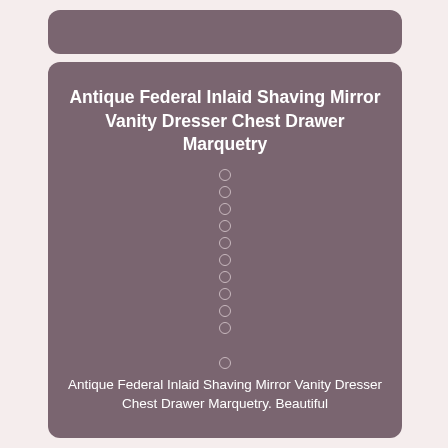[Figure (other): Top decorative bar with rounded corners, dark mauve/purple-grey color]
Antique Federal Inlaid Shaving Mirror Vanity Dresser Chest Drawer Marquetry
[Figure (other): Column of 10 small circular outline dots centered on the card, followed by a gap, then one more dot]
Antique Federal Inlaid Shaving Mirror Vanity Dresser Chest Drawer Marquetry. Beautiful